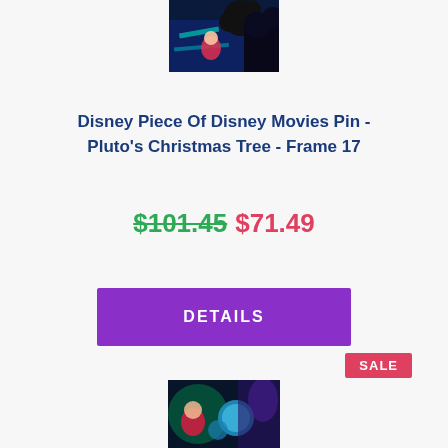[Figure (photo): Top portion of a Disney pin product image showing Mickey Mouse character in a colorful animated scene]
Disney Piece Of Disney Movies Pin - Pluto's Christmas Tree - Frame 17
$101.45 $71.49
DETAILS
SALE
[Figure (photo): Bottom portion of a Disney pin product image showing colorful Christmas-themed Disney characters]